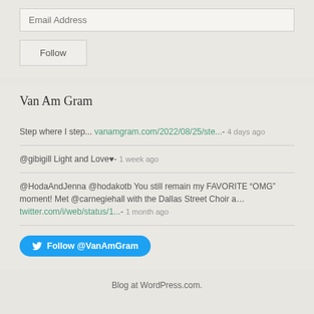Email Address
Follow
Van Am Gram
Step where I step... vanamgram.com/2022/08/25/ste...- 4 days ago
@gibigill Light and Love♥- 1 week ago
@HodaAndJenna @hodakotb You still remain my FAVORITE “OMG” moment! Met @carnegiehall with the Dallas Street Choir a... twitter.com/i/web/status/1...- 1 month ago
Follow @VanAmGram
Blog at WordPress.com.